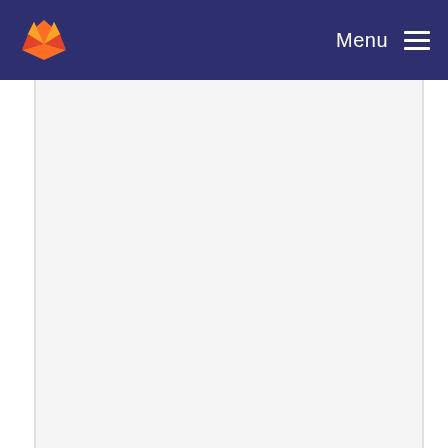Menu
Preliminary ldapAdd support
Howard Chu committed 17 years ago